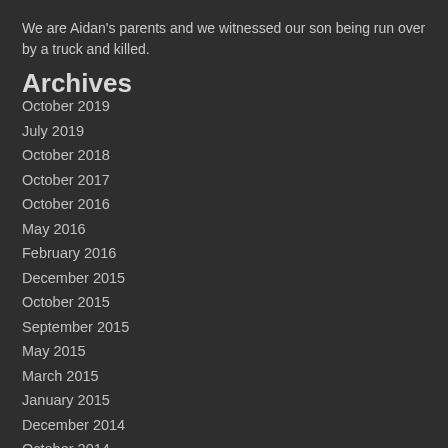We are Aidan's parents and we witnessed our son being run over by a truck and killed.
Archives
October 2019
July 2019
October 2018
October 2017
October 2016
May 2016
February 2016
December 2015
October 2015
September 2015
May 2015
March 2015
January 2015
December 2014
October 2014